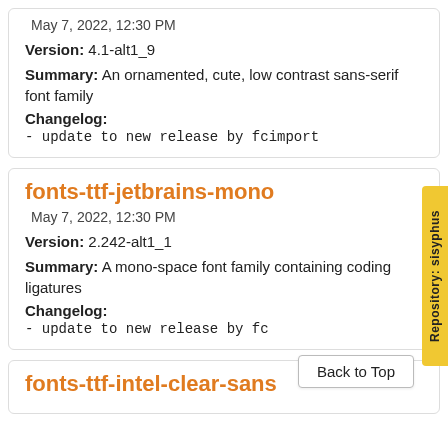May 7, 2022, 12:30 PM
Version: 4.1-alt1_9
Summary: An ornamented, cute, low contrast sans-serif font family
Changelog:
- update to new release by fcimport
fonts-ttf-jetbrains-mono
May 7, 2022, 12:30 PM
Version: 2.242-alt1_1
Summary: A mono-space font family containing coding ligatures
Changelog:
- update to new release by fc
Repository: sisyphus
Back to Top
fonts-ttf-intel-clear-sans